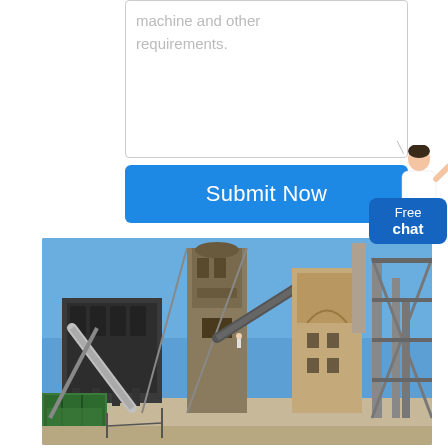machine and other requirements.
Submit Now
[Figure (photo): Industrial cement plant or heavy manufacturing facility with large steel structures, conveyors, towers, dust collectors, and machinery under a clear blue sky.]
Free chat